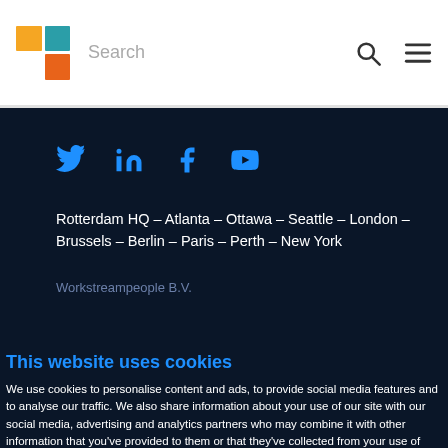[Figure (logo): Company logo with four colored squares in a 2x2 grid: yellow top-left, teal top-right, white bottom-left, orange bottom-right]
Search
Rotterdam HQ – Atlanta – Ottawa – Seattle – London – Brussels – Berlin – Paris – Perth – New York
Workstreampeople B.V.
This website uses cookies
We use cookies to personalise content and ads, to provide social media features and to analyse our traffic. We also share information about your use of our site with our social media, advertising and analytics partners who may combine it with other information that you've provided to them or that they've collected from your use of their services. You consent to our cookies if you continue to use our website.
Allow all cookies
Manage preferences